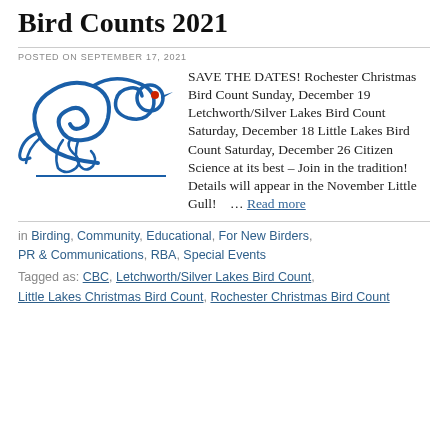Bird Counts 2021
POSTED ON SEPTEMBER 17, 2021
[Figure (illustration): Blue decorative bird logo with red dot eye, facing right, in a folk-art swirl style]
SAVE THE DATES! Rochester Christmas Bird Count Sunday, December 19 Letchworth/Silver Lakes Bird Count Saturday, December 18 Little Lakes Bird Count Saturday, December 26 Citizen Science at its best – Join in the tradition! Details will appear in the November Little Gull!    … Read more
in Birding, Community, Educational, For New Birders, PR & Communications, RBA, Special Events
Tagged as: CBC, Letchworth/Silver Lakes Bird Count, Little Lakes Christmas Bird Count, Rochester Christmas Bird Count